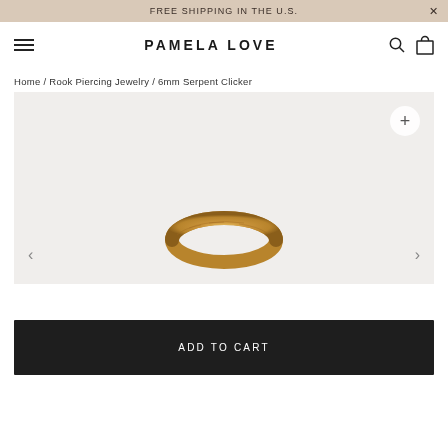FREE SHIPPING IN THE U.S.
PAMELA LOVE
Home / Rook Piercing Jewelry / 6mm Serpent Clicker
[Figure (photo): Gold 6mm Serpent Clicker ring, a gold textured hoop clicker earring shown from above against a light beige/grey background. Navigation arrows on left and right sides. Zoom button in top right.]
ADD TO CART